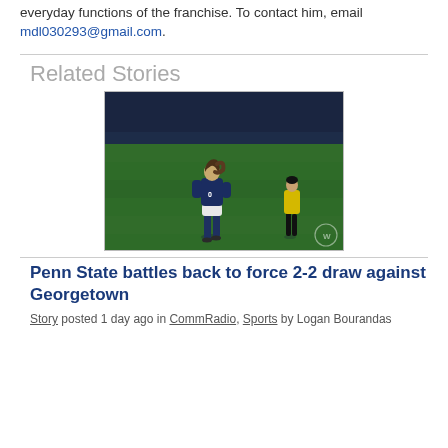everyday functions of the franchise. To contact him, email mdl030293@gmail.com.
Related Stories
[Figure (photo): A Penn State women's soccer player in a dark navy uniform with number 10, viewed from behind, on a green soccer field at night. A referee in a yellow jersey stands in the background.]
Penn State battles back to force 2-2 draw against Georgetown
Story posted 1 day ago in CommRadio, Sports by Logan Bourandas